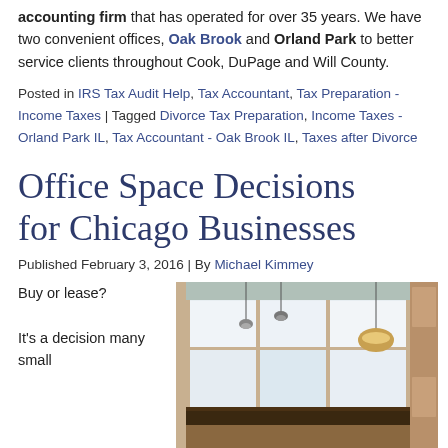accounting firm that has operated for over 35 years. We have two convenient offices, Oak Brook and Orland Park to better service clients throughout Cook, DuPage and Will County.
Posted in IRS Tax Audit Help, Tax Accountant, Tax Preparation - Income Taxes | Tagged Divorce Tax Preparation, Income Taxes - Orland Park IL, Tax Accountant - Oak Brook IL, Taxes after Divorce
Office Space Decisions for Chicago Businesses
Published February 3, 2016 | By Michael Kimmey
Buy or lease?
It's a decision many small
[Figure (photo): Interior photo of an office space with large windows, pendant lights, and built-in cabinetry]